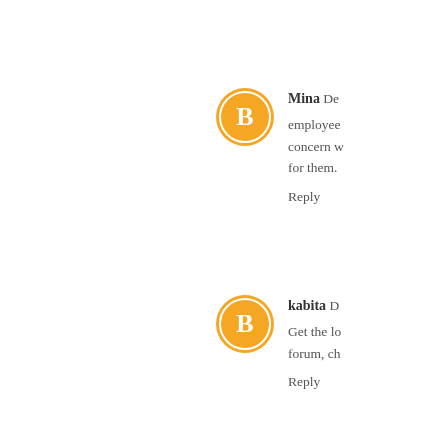[Figure (illustration): Orange circular blogger avatar icon for user Mina]
Mina De... employee... concern w... for them. Reply
[Figure (illustration): Orange circular blogger avatar icon for user kabita]
kabita D... Get the lo... forum, ch... Reply
[Figure (illustration): Orange circular blogger avatar icon for user Unknown]
Unknow... GTA Onl... Avoid? A...